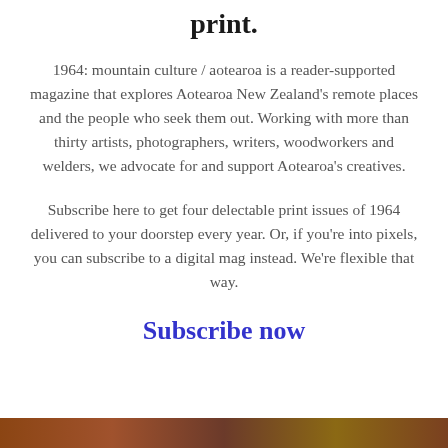print.
1964: mountain culture / aotearoa is a reader-supported magazine that explores Aotearoa New Zealand's remote places and the people who seek them out. Working with more than thirty artists, photographers, writers, woodworkers and welders, we advocate for and support Aotearoa's creatives.
Subscribe here to get four delectable print issues of 1964 delivered to your doorstep every year. Or, if you're into pixels, you can subscribe to a digital mag instead. We're flexible that way.
Subscribe now
[Figure (photo): A narrow strip of a warm-toned brown/earthy photo at the bottom of the page]